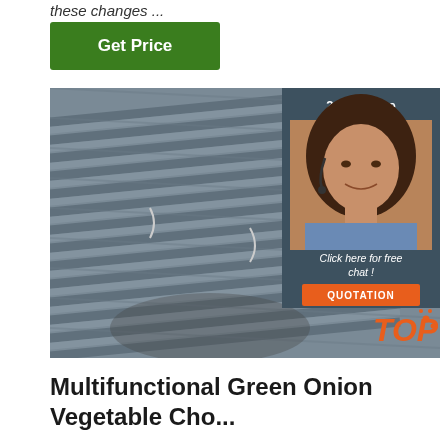these changes ...
Get Price
[Figure (photo): Stack of steel rebar/reinforcement bars photographed from an angle, gray metallic color, tied with wire]
24/7 Online
[Figure (photo): Customer service agent woman with headset, smiling, dark hair, blue shirt]
Click here for free chat !
QUOTATION
[Figure (logo): TOP badge/watermark in orange with dots]
Multifunctional Green Onion Vegetable Cho...